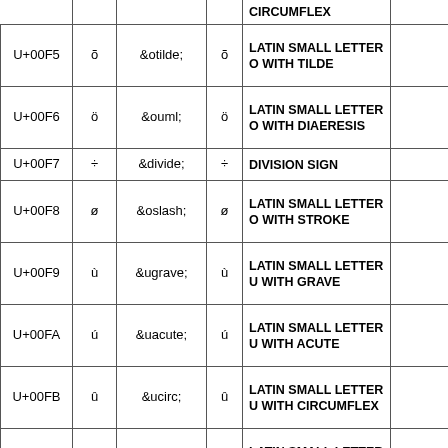| Code Point | Char | Entity | Render | Description | Notes |
| --- | --- | --- | --- | --- | --- |
|  |  |  |  | CIRCUMFLEX |  |
| U+00F5 | õ | &otilde; | õ | LATIN SMALL LETTER O WITH TILDE |  |
| U+00F6 | ö | &ouml; | ö | LATIN SMALL LETTER O WITH DIAERESIS |  |
| U+00F7 | ÷ | &divide; | ÷ | DIVISION SIGN |  |
| U+00F8 | ø | &oslash; | ø | LATIN SMALL LETTER O WITH STROKE |  |
| U+00F9 | ù | &ugrave; | ù | LATIN SMALL LETTER U WITH GRAVE |  |
| U+00FA | ú | &uacute; | ú | LATIN SMALL LETTER U WITH ACUTE |  |
| U+00FB | û | &ucirc; | û | LATIN SMALL LETTER U WITH CIRCUMFLEX |  |
| U+00FC | ü | &uuml; | ü | LATIN SMALL LETTER U WITH DIAERESIS |  |
|  |  |  |  | LATIN SMALL |  |